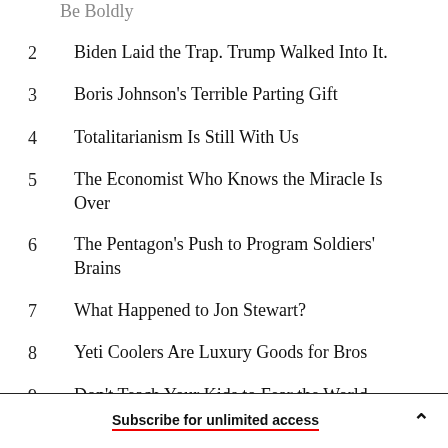Be Boldly
2  Biden Laid the Trap. Trump Walked Into It.
3  Boris Johnson's Terrible Parting Gift
4  Totalitarianism Is Still With Us
5  The Economist Who Knows the Miracle Is Over
6  The Pentagon's Push to Program Soldiers' Brains
7  What Happened to Jon Stewart?
8  Yeti Coolers Are Luxury Goods for Bros
9  Don't Teach Your Kids to Fear the World
Subscribe for unlimited access